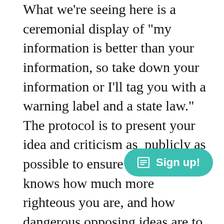What we're seeing here is a ceremonial display of "my information is better than your information, so take down your information or I'll tag you with a warning label and a state law." The protocol is to present your idea and criticism as  publicly as possible to ensure that everyone knows how much more righteous you are, and how dangerous opposing ideas are to our safety. I'm not going to say "China much?" but I have seen this kind of censorship somewhere else. We just happen to have two sides vying for the crown.

Each side is parading across a proverbial stage, claiming to be more virtuous, and more beautiful, but on the inside, they're all ugly.

The judges are you and me, and while we're hoping their answers to our toughest questions are "work to
[Figure (other): Teal/green rounded pill-shaped button with a newsletter/document icon and text 'Sign up!']